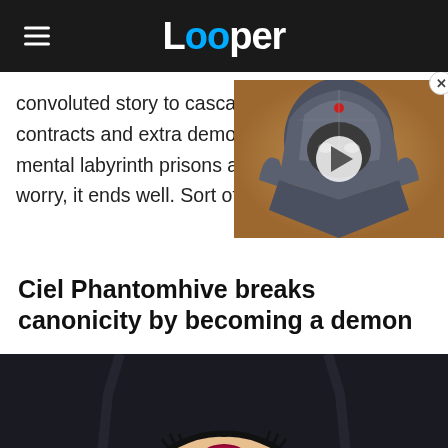Looper
convoluted story to cascade into a mess of new contracts and extra demons, mental labyrinth prisons and worry, it ends well. Sort of.
[Figure (screenshot): Video thumbnail of an armored warrior character with a play button overlay and close button]
Ciel Phantomhive breaks canonicity by becoming a demon
[Figure (illustration): Close-up anime illustration of a dark-haired character with a glowing pink/red eye, appearing to be Ciel Phantomhive as a demon]